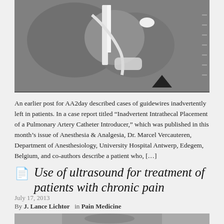[Figure (photo): Black and white CT scan or X-ray image showing medical anatomy with a catheter or guidewire visible]
An earlier post for AA2day described cases of guidewires inadvertently left in patients. In a case report titled “Inadvertent Intrathecal Placement of a Pulmonary Artery Catheter Introducer,” which was published in this month’s issue of Anesthesia & Analgesia, Dr. Marcel Vercauteren, Department of Anesthesiology, University Hospital Antwerp, Edegem, Belgium, and co-authors describe a patient who, […]
Use of ultrasound for treatment of patients with chronic pain
July 17, 2013
By J. Lance Lichtor  in Pain Medicine
[Figure (photo): Partial view of a medical photograph at the bottom of the page]